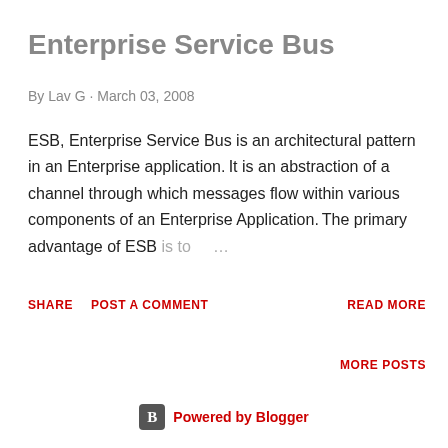Enterprise Service Bus
By Lav G · March 03, 2008
ESB, Enterprise Service Bus is an architectural pattern in an Enterprise application. It is an abstraction of a channel through which messages flow within various components of an Enterprise Application. The primary advantage of ESB is to ...
SHARE   POST A COMMENT   READ MORE
MORE POSTS
Powered by Blogger